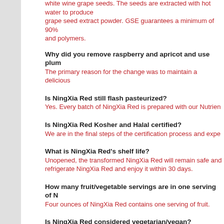white wine grape seeds. The seeds are extracted with hot water to produce grape seed extract powder. GSE guarantees a minimum of 90% total polyphenols and polymers.
Why did you remove raspberry and apricot and use plum?
The primary reason for the change was to maintain a delicious taste...
Is NingXia Red still flash pasteurized?
Yes. Every batch of NingXia Red is prepared with our Nutrient...
Is NingXia Red Kosher and Halal certified?
We are in the final steps of the certification process and expe...
What is NingXia Red's shelf life?
Unopened, the transformed NingXia Red will remain safe and... refrigerate NingXia Red and enjoy it within 30 days.
How many fruit/vegetable servings are in one serving of N...
Four ounces of NingXia Red contains one serving of fruit.
Is NingXia Red considered vegetarian/vegan?
Yes.
How many wolfberries are there in one serving of NingXia...